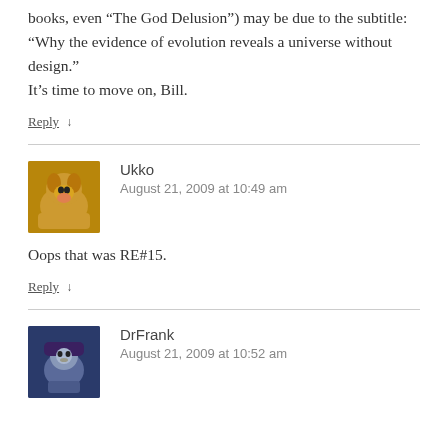books, even “The God Delusion”) may be due to the subtitle: “Why the evidence of evolution reveals a universe without design.”
It’s time to move on, Bill.
Reply ↓
Ukko
August 21, 2009 at 10:49 am
Oops that was RE#15.
Reply ↓
DrFrank
August 21, 2009 at 10:52 am